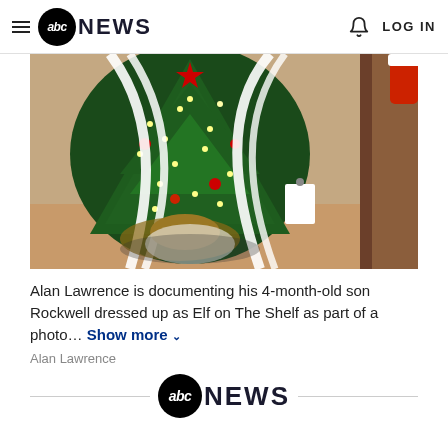abc NEWS   LOG IN
[Figure (photo): Photo of a Christmas tree with ribbons/streamers, decorative elements including a red star, lights, and holiday ornaments. Part of Alan Lawrence's photo series of his 4-month-old son Rockwell dressed as Elf on the Shelf.]
Alan Lawrence is documenting his 4-month-old son Rockwell dressed up as Elf on The Shelf as part of a photo... Show more
Alan Lawrence
abc NEWS